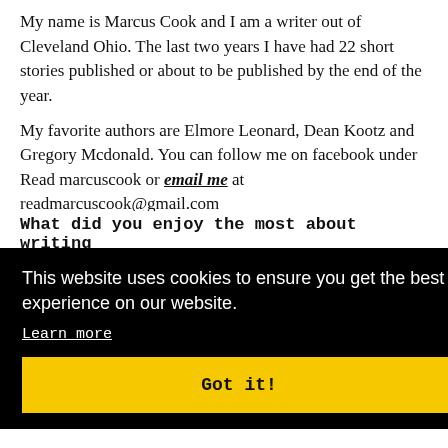My name is Marcus Cook and I am a writer out of Cleveland Ohio. The last two years I have had 22 short stories published or about to be published by the end of the year.
My favorite authors are Elmore Leonard, Dean Kootz and Gregory Mcdonald. You can follow me on facebook under Read marcuscook or email me at readmarcuscook@gmail.com
What is Fick Cruising about?
This website uses cookies to ensure you get the best experience on our website.
Learn more
Got it!
What did you enjoy the most about writing